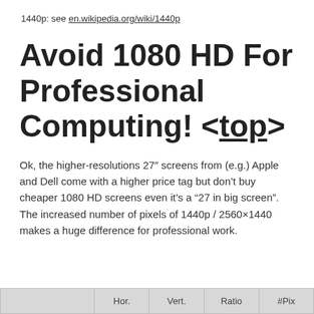1440p: see en.wikipedia.org/wiki/1440p
Avoid 1080 HD For Professional Computing! <top>
Ok, the higher-resolutions 27″ screens from (e.g.) Apple and Dell come with a higher price tag but don’t buy cheaper 1080 HD screens even it’s a “27 in big screen”. The increased number of pixels of 1440p / 2560×1440 makes a huge difference for professional work.
|  | Hor. | Vert. | Ratio | #Pix |
| --- | --- | --- | --- | --- |